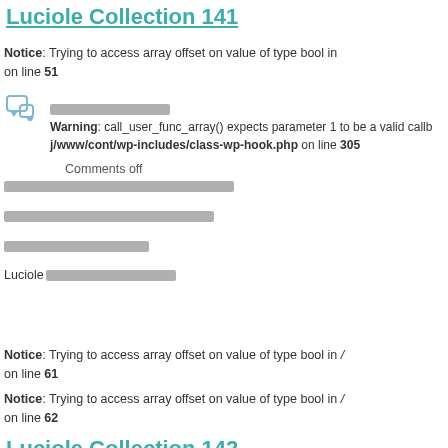Luciole Collection 141
Notice: Trying to access array offset on value of type bool in on line 51
[Figure (illustration): Comment icon (speech bubble)]
Warning: call_user_func_array() expects parameter 1 to be a valid callback j/www/cont/wp-includes/class-wp-hook.php on line 305
Comments off
Redacted/obscured text lines (Japanese or similar characters)
Luciole followed by redacted text
Notice: Trying to access array offset on value of type bool in / on line 61
Notice: Trying to access array offset on value of type bool in / on line 62
Luciole Collection 142